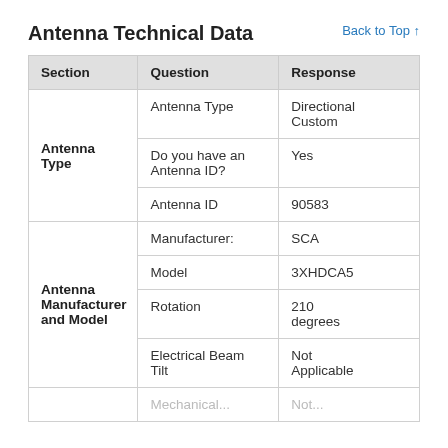Antenna Technical Data
Back to Top ↑
| Section | Question | Response |
| --- | --- | --- |
| Antenna Type | Antenna Type | Directional Custom |
|  | Do you have an Antenna ID? | Yes |
|  | Antenna ID | 90583 |
| Antenna Manufacturer and Model | Manufacturer: | SCA |
|  | Model | 3XHDCA5 |
|  | Rotation | 210 degrees |
|  | Electrical Beam Tilt | Not Applicable |
|  | Mechanical Beam Tilt | Not ... |